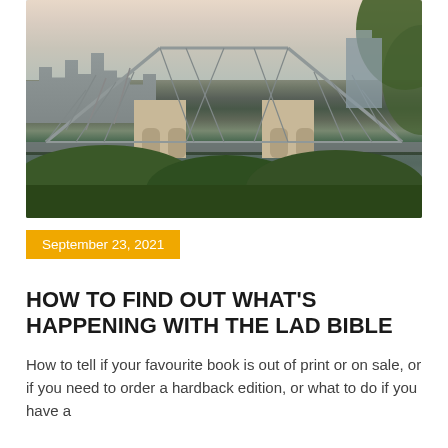[Figure (photo): Photograph of the Story Bridge in Brisbane, Australia, with city skyline in the background and green trees/foliage in the foreground and right side]
September 23, 2021
HOW TO FIND OUT WHAT'S HAPPENING WITH THE LAD BIBLE
How to tell if your favourite book is out of print or on sale, or if you need to order a hardback edition, or what to do if you have a